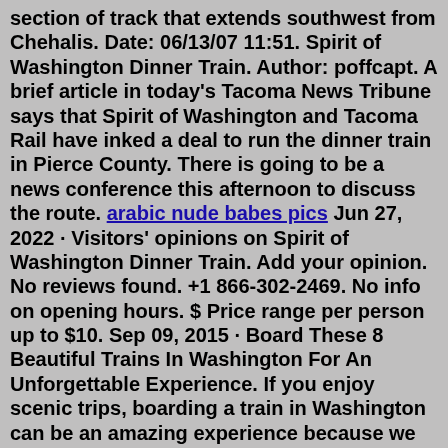section of track that extends southwest from Chehalis. Date: 06/13/07 11:51. Spirit of Washington Dinner Train. Author: poffcapt. A brief article in today's Tacoma News Tribune says that Spirit of Washington and Tacoma Rail have inked a deal to run the dinner train in Pierce County. There is going to be a news conference this afternoon to discuss the route. arabic nude babes pics Jun 27, 2022 · Visitors' opinions on Spirit of Washington Dinner Train. Add your opinion. No reviews found. +1 866-302-2469. No info on opening hours. $ Price range per person up to $10. Sep 09, 2015 · Board These 8 Beautiful Trains In Washington For An Unforgettable Experience. If you enjoy scenic trips, boarding a train in Washington can be an amazing experience because we have such breathtaking landscape to pass through! Here are 8 rides around the Evergreen state that you've got to check out: 8. Chehalis - Centralia Railroad. Jun 14, 2007 · The Spirit of Washington Dinner Train will make a last run on its original route July 31. The train will begin its trial route in Tacoma Aug. 2 and